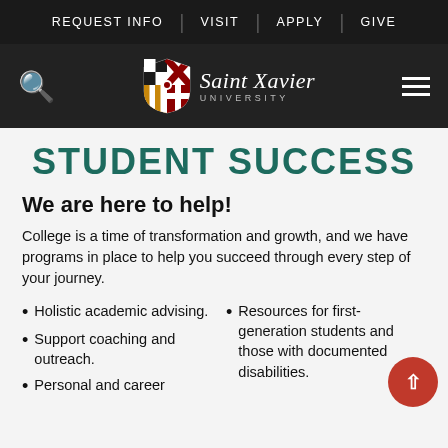REQUEST INFO | VISIT | APPLY | GIVE
[Figure (logo): Saint Xavier University logo with shield crest and university name in italic serif font]
STUDENT SUCCESS
We are here to help!
College is a time of transformation and growth, and we have programs in place to help you succeed through every step of your journey.
Holistic academic advising.
Support coaching and outreach.
Personal and career
Resources for first-generation students and those with documented disabilities.
Student (cut off)